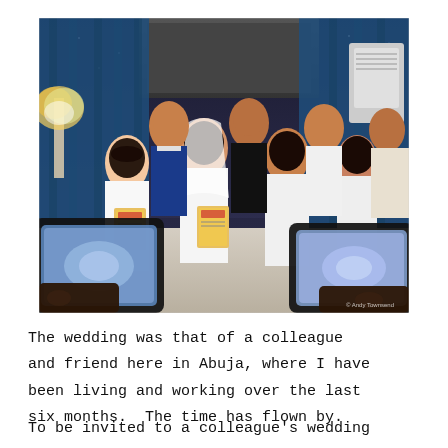[Figure (photo): Wedding ceremony photo showing multiple couples in white wedding attire holding marriage certificates, with grooms in suits behind them, photographed by audience members with smartphones in the foreground. Photo credit: © Andy Townsend]
The wedding was that of a colleague and friend here in Abuja, where I have been living and working over the last six months. The time has flown by.
To be invited to a colleague's wedding